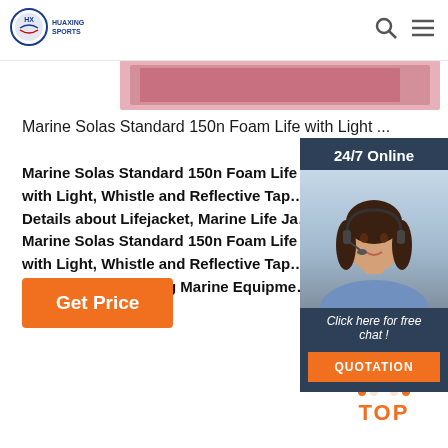[Figure (logo): Huaxing Sports logo — blue circular emblem with company name below]
[Figure (photo): Pink life jacket product image strip partially visible at top of page]
Marine Solas Standard 150n Foam Life with Light ...
Marine Solas Standard 150n Foam Life with Light, Whistle and Reflective Tape Details about Lifejacket, Marine Life Ja Marine Solas Standard 150n Foam Life with Light, Whistle and Reflective Tape Chongqing Gathering Marine Equipme
[Figure (photo): 24/7 Online chat widget with photo of female customer service representative wearing headset. Includes 'Click here for free chat!' text and orange QUOTATION button.]
Get Price
[Figure (other): Orange TOP back-to-top button with dotted arrow icon]